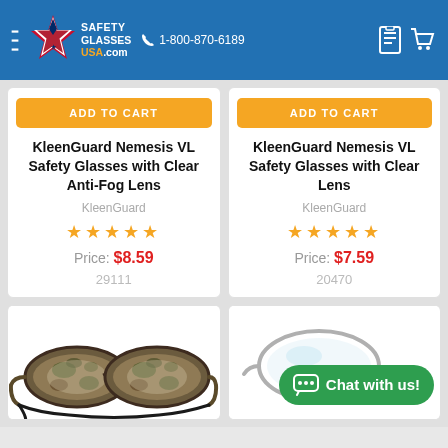Safety Glasses USA — 1-800-870-6189
ADD TO CART — KleenGuard Nemesis VL Safety Glasses with Clear Anti-Fog Lens — KleenGuard — ★★★★★ — Price: $8.59 — 29111
ADD TO CART — KleenGuard Nemesis VL Safety Glasses with Clear Lens — KleenGuard — ★★★★★ — Price: $7.59 — 20470
[Figure (photo): Camouflage-patterned safety glasses with black cord strap]
[Figure (screenshot): Partial view of safety glasses with green Chat with us! button overlay]